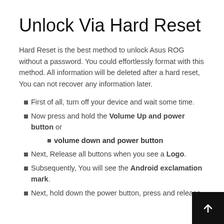Unlock Via Hard Reset
Hard Reset is the best method to unlock Asus ROG without a password. You could effortlessly format with this method. All information will be deleted after a hard reset, You can not recover any information later.
First of all, turn off your device and wait some time.
Now press and hold the Volume Up and power button or
  - volume down and power button
Next, Release all buttons when you see a Logo.
Subsequently, You will see the Android exclamation mark.
Next, hold down the power button, press and release